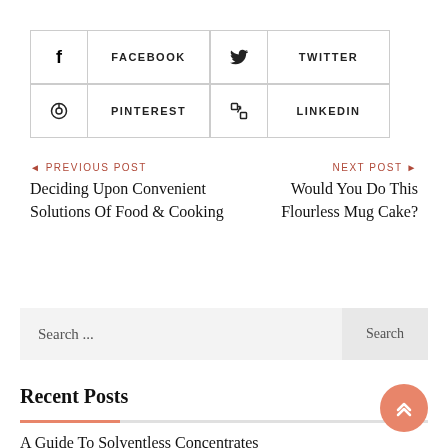[Figure (infographic): Social share buttons grid: Facebook, Twitter, Pinterest, LinkedIn]
◄ PREVIOUS POST
Deciding Upon Convenient Solutions Of Food & Cooking
NEXT POST ►
Would You Do This Flourless Mug Cake?
Search ...
Search
Recent Posts
A Guide To Solventless Concentrates